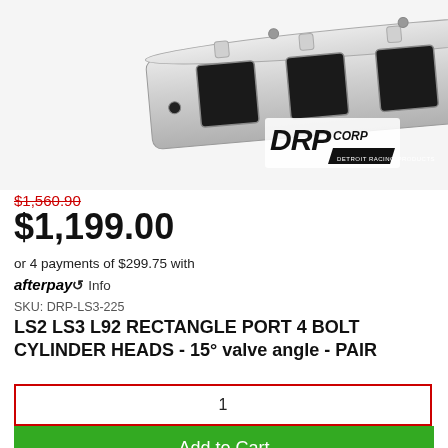[Figure (photo): Silver aluminum cylinder head product photo with DRP (Detroit Racing Products) logo in the bottom right corner]
$1,560.90 (crossed out, original price)
$1,199.00
or 4 payments of $299.75 with afterpay Info
SKU: DRP-LS3-225
LS2 LS3 L92 RECTANGLE PORT 4 BOLT CYLINDER HEADS - 15° valve angle - PAIR
1
Add to Cart
[Figure (logo): Partial logo at bottom of page]